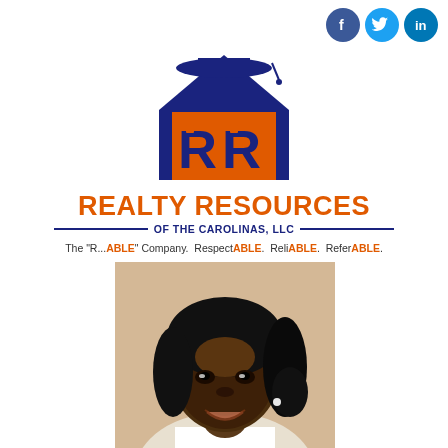[Figure (logo): Social media icons: Facebook, Twitter, LinkedIn circles top right]
[Figure (logo): Realty Resources of the Carolinas LLC logo — house with graduation cap, double R letters in orange and navy]
REALTY RESOURCES OF THE CAROLINAS, LLC
The "R...ABLE" Company. RespectABLE, ReliABLE, ReferABLE.
[Figure (photo): Professional headshot of a woman smiling, dark hair pulled back, wearing white, pearl earring, warm skin tone]